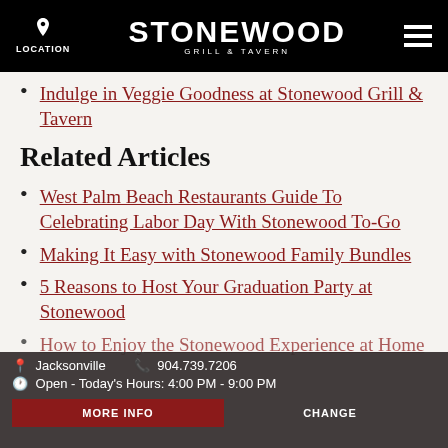LOCATION | STONEWOOD GRILL & TAVERN | Menu
Indulge in Veggie Goodness at Stonewood Grill & Tavern
Related Articles
West Palm Beach Restaurants Guide To Celebrating Labor Day With Stonewood To-Go
Making It Easy with Stonewood Family Bundles
5 Reasons to Host Your Graduation Party at Stonewood
How to Enjoy the Stonewood Experience at Home
Jacksonville | 904.739.7206 | Open - Today's Hours: 4:00 PM - 9:00 PM | MORE INFO | CHANGE